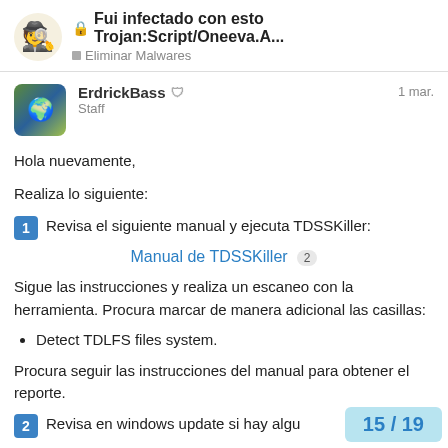Fui infectado con esto Trojan:Script/Oneeva.A... | Eliminar Malwares
ErdrickBass Staff — 1 mar.
Hola nuevamente,
Realiza lo siguiente:
1 Revisa el siguiente manual y ejecuta TDSSKiller:
Manual de TDSSKiller 2
Sigue las instrucciones y realiza un escaneo con la herramienta. Procura marcar de manera adicional las casillas:
Detect TDLFS files system.
Procura seguir las instrucciones del manual para obtener el reporte.
2 Revisa en windows update si hay algu...
15 / 19